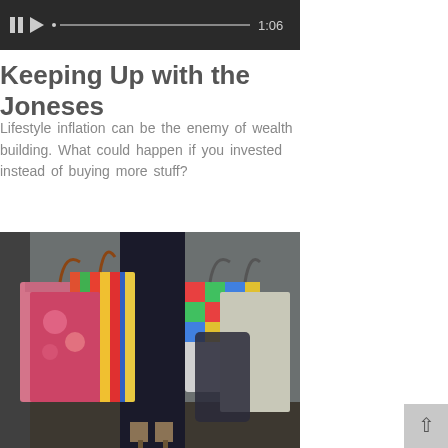[Figure (screenshot): Video player control bar showing pause button, play button, progress indicator, progress bar, and timestamp 1:06 on a dark background]
Keeping Up with the Joneses
Lifestyle inflation can be the enemy of wealth building. What could happen if you invested instead of buying more stuff?
[Figure (photo): Person carrying multiple colorful shopping bags in both hands, wearing black pants and heels, standing against a gray wall]